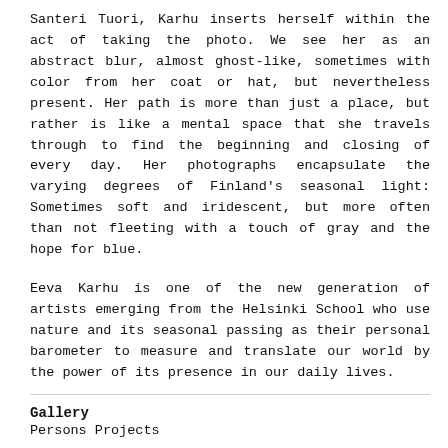Santeri Tuori, Karhu inserts herself within the act of taking the photo. We see her as an abstract blur, almost ghost-like, sometimes with color from her coat or hat, but nevertheless present. Her path is more than just a place, but rather is like a mental space that she travels through to find the beginning and closing of every day. Her photographs encapsulate the varying degrees of Finland's seasonal light: Sometimes soft and iridescent, but more often than not fleeting with a touch of gray and the hope for blue.
Eeva Karhu is one of the new generation of artists emerging from the Helsinki School who use nature and its seasonal passing as their personal barometer to measure and translate our world by the power of its presence in our daily lives.
Gallery
Persons Projects